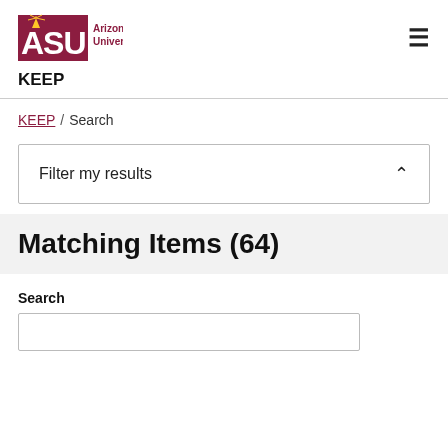[Figure (logo): Arizona State University logo with ASU text in maroon and gold sunburst, followed by 'Arizona State University' text in maroon]
KEEP
KEEP / Search
Filter my results
Matching Items (64)
Search